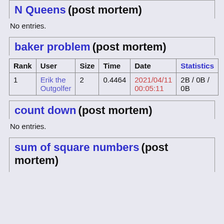N Queens (post mortem)
No entries.
baker problem (post mortem)
| Rank | User | Size | Time | Date | Statistics |
| --- | --- | --- | --- | --- | --- |
| 1 | Erik the Outgolfer | 2 | 0.4464 | 2021/04/11 00:05:11 | 2B / 0B / 0B |
count down (post mortem)
No entries.
sum of square numbers (post mortem)